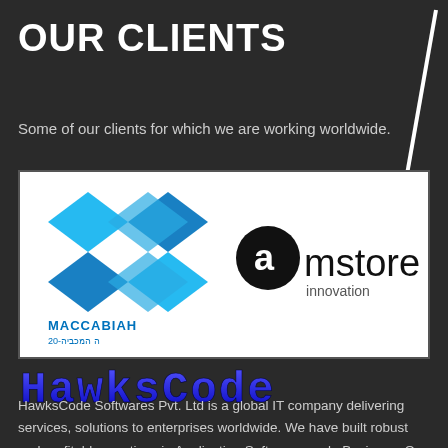OUR CLIENTS
Some of our clients for which we are working worldwide.
[Figure (logo): Maccabiah 20 logo (blue geometric design) and amstore innovation logo (black circle with text) side by side in a white box]
[Figure (logo): HawksCode styled logo in blue 3D block letters]
HawksCode Softwares Pvt. Ltd is a global IT company delivering services, solutions to enterprises worldwide. We have built robust and profitable practices in Application Softwares and eBusiness. Our experience and expertise in executing large software development projects is a complementary mix of